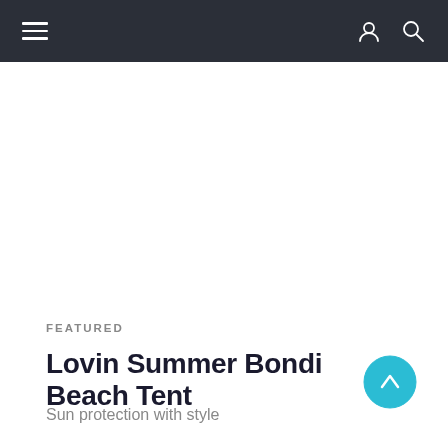Navigation bar with hamburger menu, user icon, and search icon
FEATURED
Lovin Summer Bondi Beach Tent
Sun protection with style
→